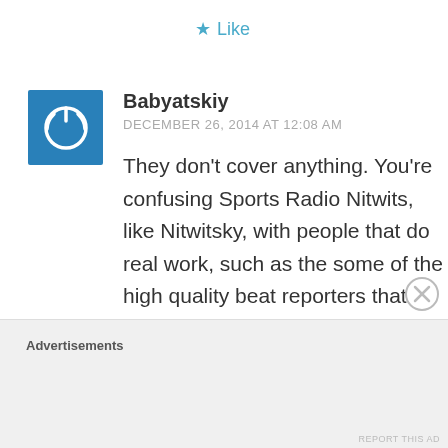Like
Babyatskiy
DECEMBER 26, 2014 AT 12:08 AM
They don't cover anything. You're confusing Sports Radio Nitwits, like Nitwitsky, with people that do real work, such as the some of the high quality beat reporters that work in New
Advertisements